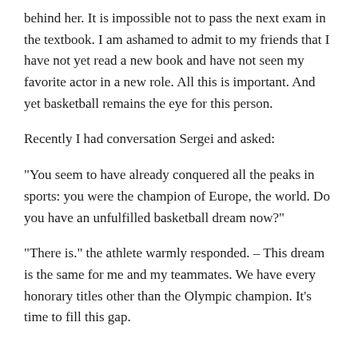behind her. It is impossible not to pass the next exam in the textbook. I am ashamed to admit to my friends that I have not yet read a new book and have not seen my favorite actor in a new role. All this is important. And yet basketball remains the eye for this person.
Recently I had conversation Sergei and asked:
“You seem to have already conquered all the peaks in sports: you were the champion of Europe, the world. Do you have an unfulfilled basketball dream now?”
“There is.” the athlete warmly responded. – This dream is the same for me and my teammates. We have every honorary titles other than the Olympic champion. It’s time to fill this gap.